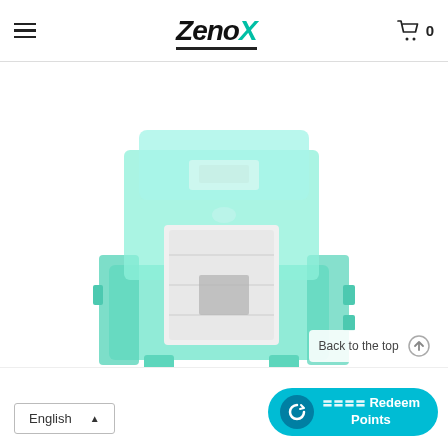Zenox — hamburger menu, logo, cart (0)
[Figure (photo): Close-up product photo of a transparent teal/mint-colored mechanical keyboard switch with white stem, viewed from a 3/4 angle showing internal components]
Back to the top ↑
English ▲
〓〓〓〓 Redeem Points